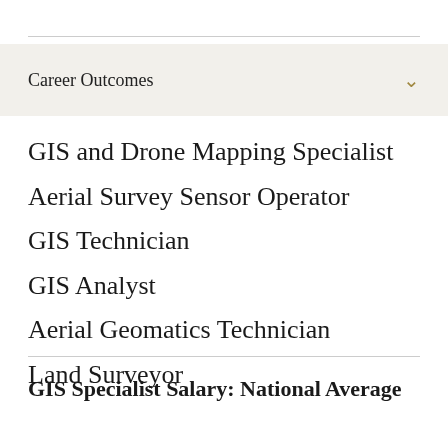Career Outcomes
GIS and Drone Mapping Specialist
Aerial Survey Sensor Operator
GIS Technician
GIS Analyst
Aerial Geomatics Technician
Land Surveyor
GIS Specialist Salary: National Average